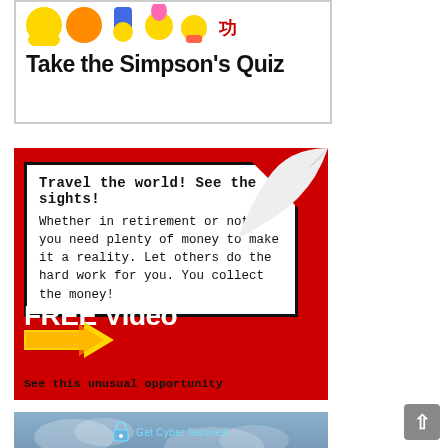[Figure (illustration): Banner ad for 'Take the Simpson's Quiz' featuring colorful cartoon character icons at top and bold black text on white background with border.]
[Figure (illustration): Red advertisement banner. White text box at top reads: 'Travel the world! See the sights! Whether in retirement or not, you need plenty of money to make it a reality. Let others do the hard work for you. You collect the money!' Below in white text: 'FREE Video'. Yellow arrow graphic. Bottom text: 'See this unusual opportunity'. Red text on curled corner area: 'WATCH NOW!']
[Figure (illustration): Cyber security advertisement with cloudy sky background. Lock icon with text 'Get Cyber Secured.' Headline: 'Protect Your Small Business From Deadly Cyber Attacks.' Subtext: 'Feel empowered to take action to better secure yourself, your family, and your business.']